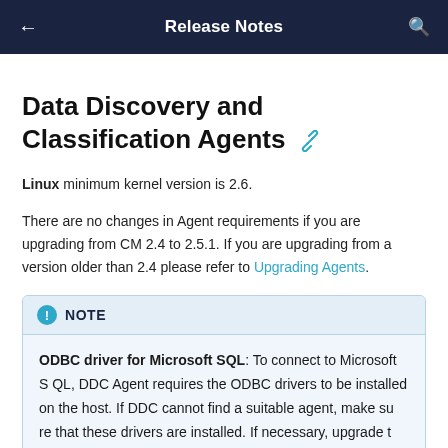Release Notes
Data Discovery and Classification Agents
Linux minimum kernel version is 2.6.
There are no changes in Agent requirements if you are upgrading from CM 2.4 to 2.5.1. If you are upgrading from a version older than 2.4 please refer to Upgrading Agents.
NOTE
ODBC driver for Microsoft SQL: To connect to Microsoft SQL, DDC Agent requires the ODBC drivers to be installed on the host. If DDC cannot find a suitable agent, make sure that these drivers are installed. If necessary, upgrade t